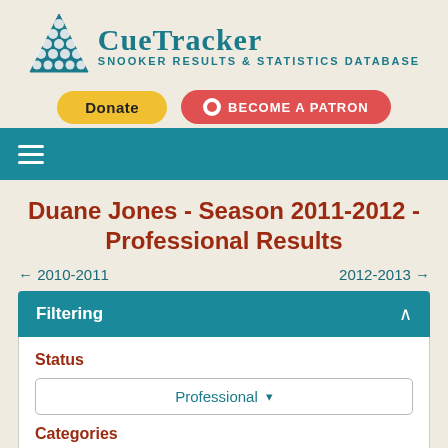[Figure (logo): CueTracker snooker triangle logo with blue balls arranged in triangle shape]
CueTracker Snooker Results & Statistics Database
[Figure (other): Donate button (yellow pill) and Become a Patron button (red pill with patreon icon)]
[Figure (other): Teal navigation bar with hamburger menu icon]
Duane Jones - Season 2011-2012 - Professional Results
← 2010-2011   2012-2013 →
Filtering
Status
Professional ▾
Categories